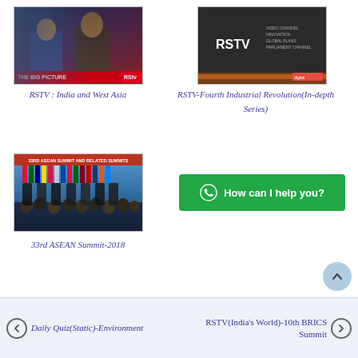[Figure (screenshot): Thumbnail image for RSTV India and West Asia video, showing TV show hosts on a news panel]
RSTV : India and West Asia
[Figure (screenshot): Thumbnail image for RSTV Fourth Industrial Revolution In-depth Series, dark background with RSTV branding]
RSTV-Fourth Industrial Revolution(In-depth Series)
[Figure (photo): Thumbnail image for 33rd ASEAN Summit 2018, showing dignitaries with flags]
33rd ASEAN Summit-2018
[Figure (screenshot): Green WhatsApp chat button with text: How can I help you?]
Daily Quiz(Static)-Environment    RSTV(India's World)-10th BRICS Summit